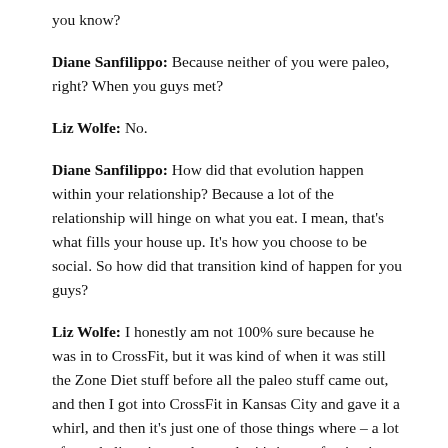you know?
Diane Sanfilippo: Because neither of you were paleo, right? When you guys met?
Liz Wolfe: No.
Diane Sanfilippo: How did that evolution happen within your relationship? Because a lot of the relationship will hinge on what you eat. I mean, that's what fills your house up. It's how you choose to be social. So how did that transition kind of happen for you guys?
Liz Wolfe: I honestly am not 100% sure because he was in to CrossFit, but it was kind of when it was still the Zone Diet stuff before all the paleo stuff came out, and then I got into CrossFit in Kansas City and gave it a whirl, and then it's just one of those things where – a lot of people listening understand – it's just so fascinating and it's so fun that you just kind of